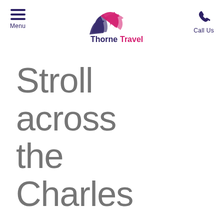[Figure (logo): Thorne Travel logo with stylized wing/wave graphic in dark blue and pink, with text 'Thorne' in dark navy and 'Travel' in pink]
Stroll across the Charles